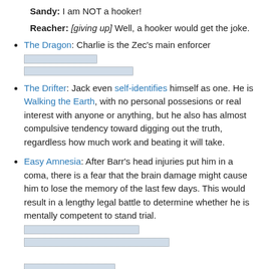Sandy: I am NOT a hooker!
Reacher: [giving up] Well, a hooker would get the joke.
The Dragon: Charlie is the Zec's main enforcer [redacted content]
The Drifter: Jack even self-identifies himself as one. He is Walking the Earth, with no personal possesions or real interest with anyone or anything, but he also has almost compulsive tendency toward digging out the truth, regardless how much work and beating it will take.
Easy Amnesia: After Barr's head injuries put him in a coma, there is a fear that the brain damage might cause him to lose the memory of the last few days. This would result in a lengthy legal battle to determine whether he is mentally competent to stand trial. [redacted content]
Enemy Mine: Barr is invoking a form of this when he asks Emerson and Rodin to find Jack Reacher.